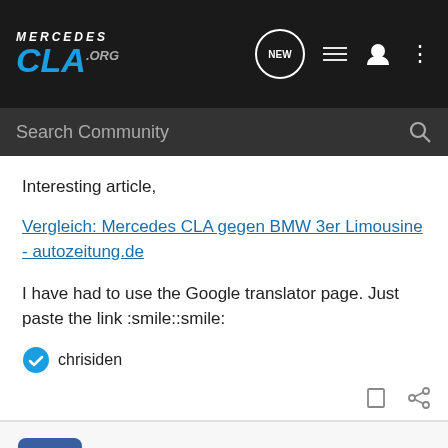Mercedes CLA.org — NEW [nav icons]
Search Community
Interesting article,
Vergleich: Mercedes CLA gegen BMW 3er Limousine - autozeitung.de
I have had to use the Google translator page. Just paste the link :smile::smile:
chrisiden
chrisiden · Registered
Joined Jan 24, 2013 · 515 Posts
#2 · Mar 10, 2013